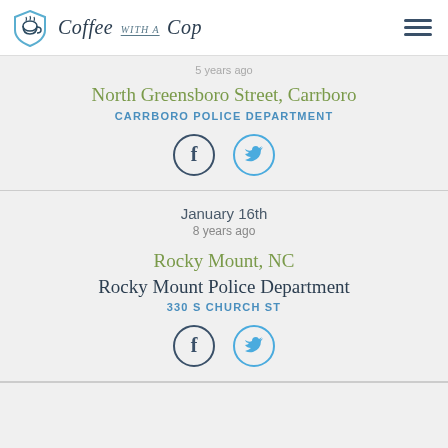Coffee with a Cop
5 years ago
North Greensboro Street, Carrboro
CARRBORO POLICE DEPARTMENT
[Figure (infographic): Facebook and Twitter social sharing icons in circles]
January 16th
8 years ago
Rocky Mount, NC
Rocky Mount Police Department
330 S CHURCH ST
[Figure (infographic): Facebook and Twitter social sharing icons in circles]